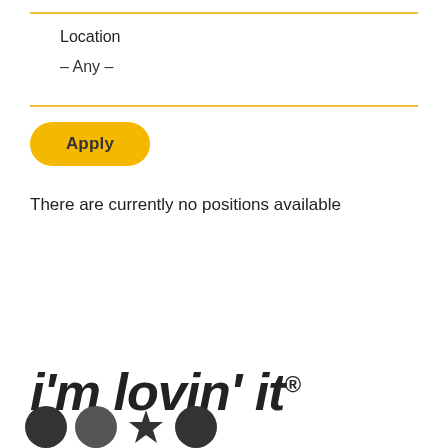Location
- Any -
Apply
There are currently no positions available
i'm lovin' it®